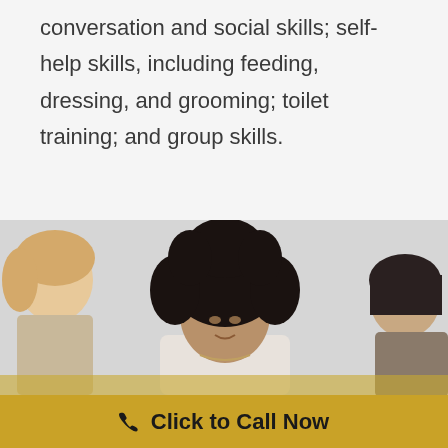conversation and social skills; self-help skills, including feeding, dressing, and grooming; toilet training; and group skills.
[Figure (photo): Three children sitting together, looking downward, against a light gray background. One child has curly black hair and wears a white shirt, one has straight blonde hair, and one has straight dark hair.]
Click to Call Now